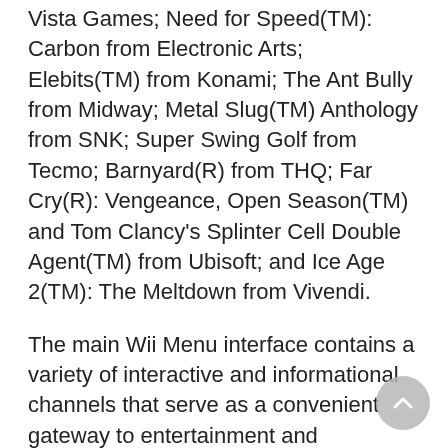Vista Games; Need for Speed(TM): Carbon from Electronic Arts; Elebits(TM) from Konami; The Ant Bully from Midway; Metal Slug(TM) Anthology from SNK; Super Swing Golf from Tecmo; Barnyard(R) from THQ; Far Cry(R): Vengeance, Open Season(TM) and Tom Clancy's Splinter Cell Double Agent(TM) from Ubisoft; and Ice Age 2(TM): The Meltdown from Vivendi.
The main Wii Menu interface contains a variety of interactive and informational channels that serve as a convenient gateway to entertainment and information. They appeal to a broad range of consumers and enhance game play. Users can come here to create a Mii(TM) caricature of themselves to use in games, to download classic games from the Wii Shop Channel or to develop a photo slide show. Nintendo is shipping 4 million Wii systems globally through the end of 2006. While shipments will be sent to retailers continuously